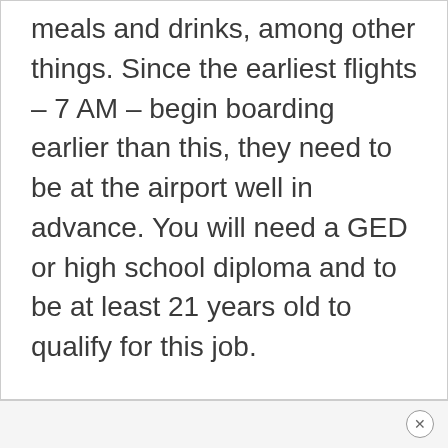meals and drinks, among other things. Since the earliest flights – 7 AM – begin boarding earlier than this, they need to be at the airport well in advance. You will need a GED or high school diploma and to be at least 21 years old to qualify for this job.